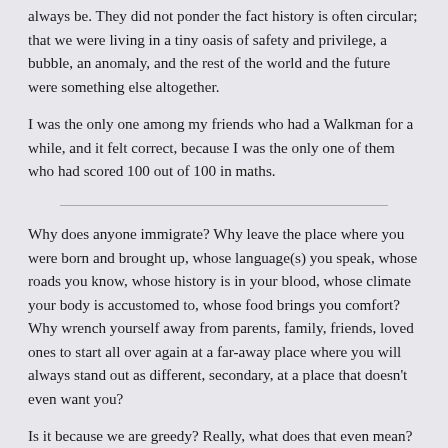always be. They did not ponder the fact history is often circular; that we were living in a tiny oasis of safety and privilege, a bubble, an anomaly, and the rest of the world and the future were something else altogether.
I was the only one among my friends who had a Walkman for a while, and it felt correct, because I was the only one of them who had scored 100 out of 100 in maths.
Why does anyone immigrate? Why leave the place where you were born and brought up, whose language(s) you speak, whose roads you know, whose history is in your blood, whose climate your body is accustomed to, whose food brings you comfort? Why wrench yourself away from parents, family, friends, loved ones to start all over again at a far-away place where you will always stand out as different, secondary, at a place that doesn't even want you?
Is it because we are greedy? Really, what does that even mean?